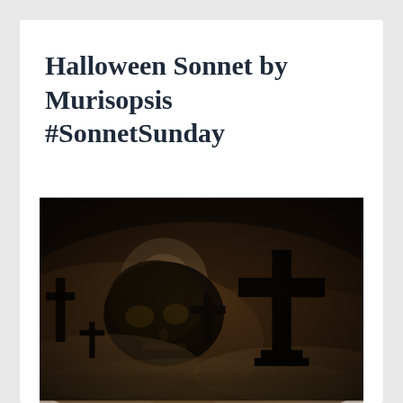Halloween Sonnet by Murisopsis #SonnetSunday
[Figure (photo): Dark Halloween graveyard scene with a glowing skull partially obscured by mist, multiple cross-shaped tombstones in silhouette against a murky brown and black background with a faint full moon visible.]